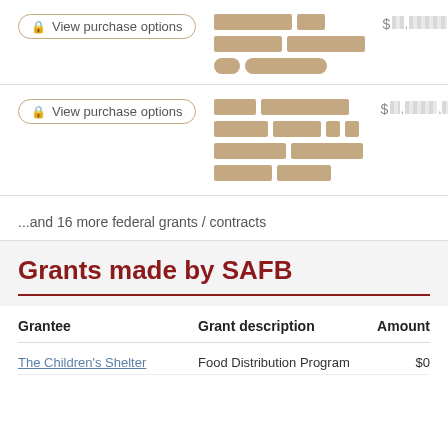[Figure (other): View purchase options button with redacted content blocks and redacted dollar amount]
[Figure (other): View purchase options button with redacted content blocks and redacted dollar amount]
...and 16 more federal grants / contracts
Grants made by SAFB
| Grantee | Grant description | Amount |
| --- | --- | --- |
| The Children's Shelter | Food Distribution Program | $0 |